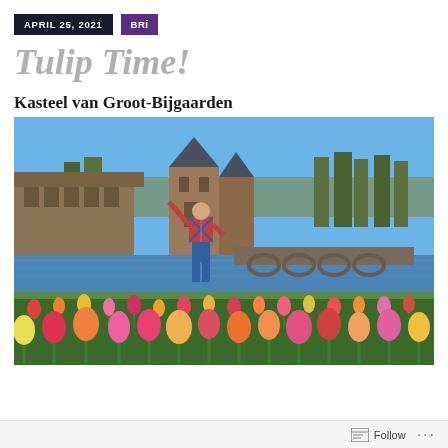APRIL 25, 2021  BRÍ
Tulip Time!
Kasteel van Groot-Bijgaarden
[Figure (photo): A woman standing in front of a moat castle (Kasteel van Groot-Bijgaarden) with colorful tulips in the foreground, including red, orange, yellow, pink, and white tulips, with a blue sky and bare trees in the background.]
Follow ...